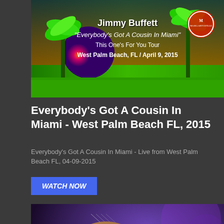[Figure (screenshot): Jimmy Buffett concert promotional image with tropical theme. Text reads: Jimmy Buffett, Everybody's Got A Cousin In Miami, This One's For You Tour, West Palm Beach, FL / April 9, 2015. Green background with palm trees and a circular Margaritaville logo.]
Everybody's Got A Cousin In Miami - West Palm Beach FL, 2015
Everybody's Got A Cousin In Miami - Live from West Palm Beach FL, 04-09-2015
WATCH NOW
[Figure (photo): Close-up photo of a guitarist's hands playing an acoustic guitar on stage. The performer is wearing a yellow-green wristband. Purple stage lighting visible in background.]